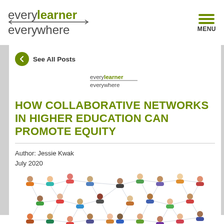every learner everywhere — MENU
See All Posts
[Figure (logo): Every Learner Everywhere small logo centered]
HOW COLLABORATIVE NETWORKS IN HIGHER EDUCATION CAN PROMOTE EQUITY
Author: Jessie Kwak
July 2020
[Figure (illustration): Network diagram showing diverse people icons connected by lines representing a collaborative network]